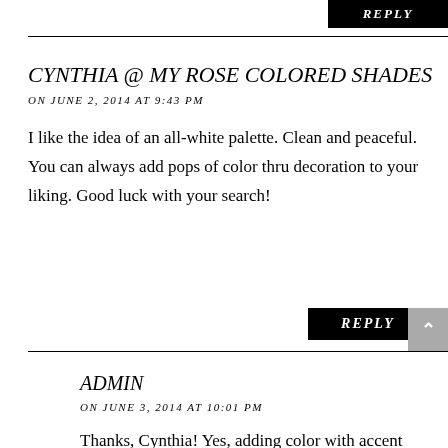[Figure (other): Black REPLY button at top right]
CYNTHIA @ MY ROSE COLORED SHADES
ON JUNE 2, 2014 AT 9:43 PM
I like the idea of an all-white palette. Clean and peaceful. You can always add pops of color thru decoration to your liking. Good luck with your search!
[Figure (other): Black REPLY button]
ADMIN
ON JUNE 3, 2014 AT 10:01 PM
Thanks, Cynthia! Yes, adding color with accent